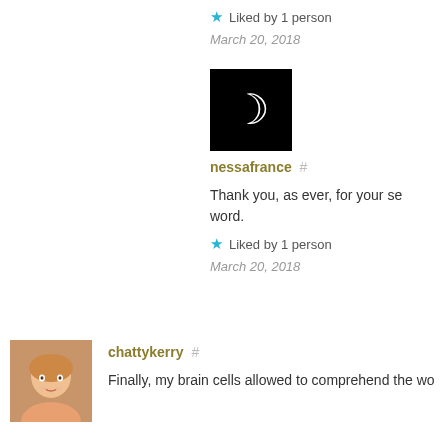★ Liked by 1 person
March 20, 2018
[Figure (photo): Black square avatar image with a white crescent moon symbol]
nessafrance #
Thank you, as ever, for your se… word.
★ Liked by 1 person
March 20, 2018
[Figure (photo): Profile photo of a woman with short blonde hair and earrings, smiling]
chattykerry #
Finally, my brain cells allowed to comprehend the wo…